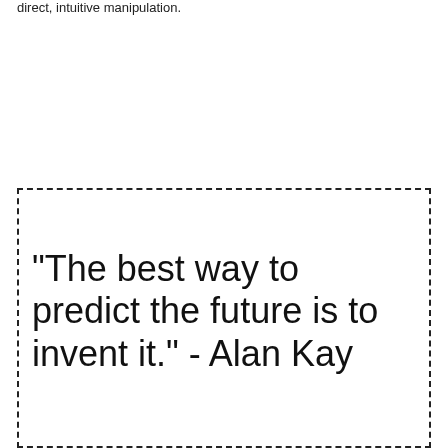direct, intuitive manipulation.
"The best way to predict the future is to invent it." - Alan Kay